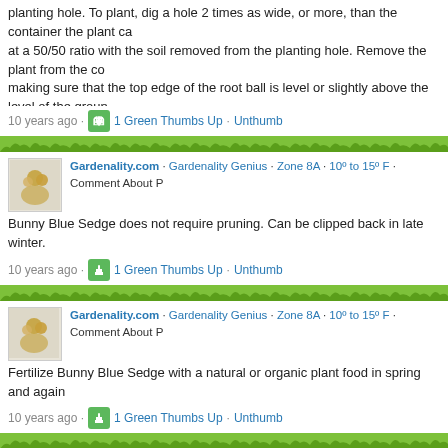planting hole. To plant, dig a hole 2 times as wide, or more, than the container the plant came in. Mix the amended soil at a 50/50 ratio with the soil removed from the planting hole. Remove the plant from the container and set it in the hole making sure that the top edge of the root ball is level or slightly above the level of the ground. Fill the hole and firm the soil go to remove air pockets. Water thoroughly and cover with a 1 to 2 inch layer of mulch if yo
10 years ago · 1 Green Thumbs Up · Unthumb
Gardenality.com · Gardenality Genius · Zone 8A · 10º to 15º F · Comment About P
Bunny Blue Sedge does not require pruning. Can be clipped back in late winter.
10 years ago · 1 Green Thumbs Up · Unthumb
Gardenality.com · Gardenality Genius · Zone 8A · 10º to 15º F · Comment About P
Fertilize Bunny Blue Sedge with a natural or organic plant food in spring and again
10 years ago · 1 Green Thumbs Up · Unthumb
Gardenality.com · Gardenality Genius · Zone 8A · 10º to 15º F · Comment About P
I've seen no serious insect or disease problems with sedge. Dry soil and too much to part shade.
10 years ago · 1 Green Thumbs Up · Unthumb
Login to write a comment. Click Here.